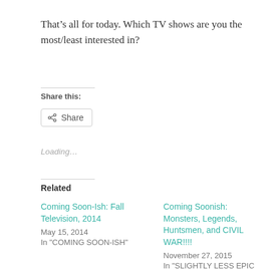That’s all for today. Which TV shows are you the most/least interested in?
Share this:
Share
Loading…
Related
Coming Soon-Ish: Fall Television, 2014
May 15, 2014
In "COMING SOON-ISH"
Coming Soonish: Monsters, Legends, Huntsmen, and CIVIL WAR!!!!
November 27, 2015
In "SLIGHTLY LESS EPIC REVIEWS"